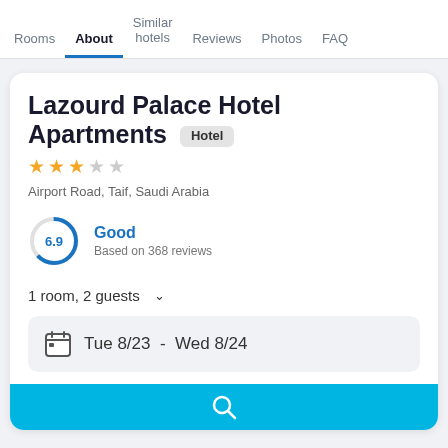Rooms | About | Similar hotels | Reviews | Photos | FAQ
Lazourd Palace Hotel Apartments Hotel
★★★☆☆
Airport Road, Taif, Saudi Arabia
6.9 Good Based on 368 reviews
1 room, 2 guests
Tue 8/23  -  Wed 8/24